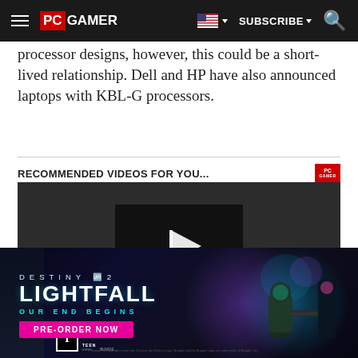PC GAMER | SUBSCRIBE
processor designs, however, this could be a short-lived relationship. Dell and HP have also announced laptops with KBL-G processors.
RECOMMENDED VIDEOS FOR YOU...
[Figure (screenshot): Video player thumbnail with play button arrow icon on dark background]
[Figure (photo): Destiny 2 Lightfall advertisement banner — OUR END BEGINS — PRE-ORDER NOW button, game art with characters and sci-fi cityscape]